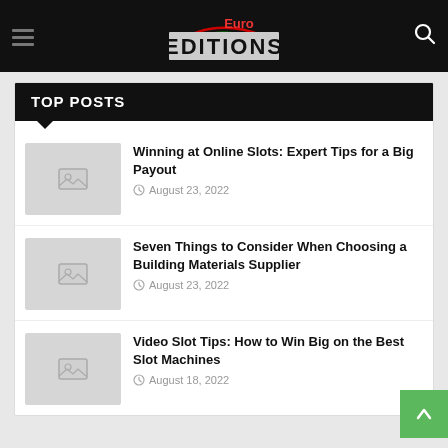Euro EDITIONS
TOP POSTS
Winning at Online Slots: Expert Tips for a Big Payout
August 23, 2022
Seven Things to Consider When Choosing a Building Materials Supplier
August 23, 2022
Video Slot Tips: How to Win Big on the Best Slot Machines
August 18, 2022